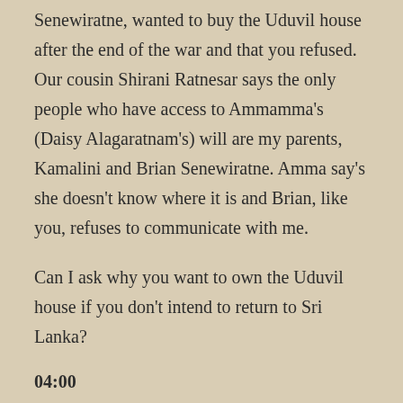Senewiratne, wanted to buy the Uduvil house after the end of the war and that you refused. Our cousin Shirani Ratnesar says the only people who have access to Ammamma's (Daisy Alagaratnam's) will are my parents, Kamalini and Brian Senewiratne. Amma say's she doesn't know where it is and Brian, like you, refuses to communicate with me.
Can I ask why you want to own the Uduvil house if you don't intend to return to Sri Lanka?
04:00